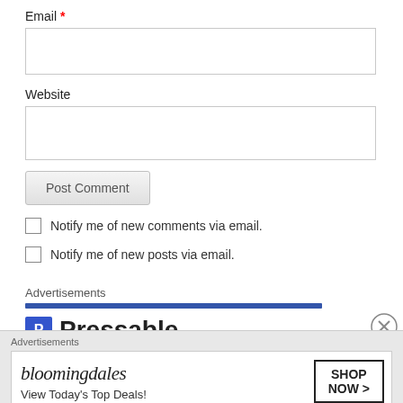Email *
Website
Post Comment
Notify me of new comments via email.
Notify me of new posts via email.
Advertisements
[Figure (screenshot): Pressable logo/text partially visible]
Advertisements
[Figure (photo): Bloomingdales advertisement banner: 'View Today's Top Deals!' with SHOP NOW > button and woman in hat]